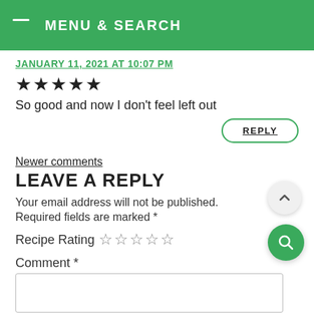MENU & SEARCH
JANUARY 11, 2021 AT 10:07 PM
★★★★★
So good and now I don't feel left out
REPLY
Newer comments
LEAVE A REPLY
Your email address will not be published. Required fields are marked *
Recipe Rating ☆☆☆☆☆
Comment *